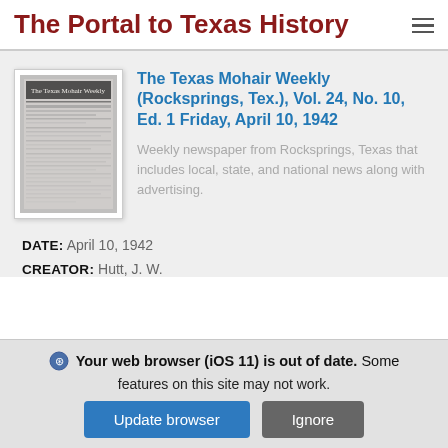The Portal to Texas History
[Figure (screenshot): Thumbnail image of The Texas Mohair Weekly newspaper front page]
The Texas Mohair Weekly (Rocksprings, Tex.), Vol. 24, No. 10, Ed. 1 Friday, April 10, 1942
Weekly newspaper from Rocksprings, Texas that includes local, state, and national news along with advertising.
DATE: April 10, 1942
CREATOR: Hutt, J. W.
Your web browser (iOS 11) is out of date. Some features on this site may not work.